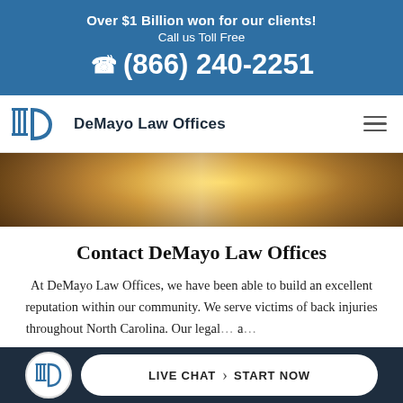Over $1 Billion won for our clients! Call us Toll Free (866) 240-2251
[Figure (logo): DeMayo Law Offices logo with columned building icon and crescent D shape, and hamburger menu icon]
[Figure (photo): Hero image showing a person working with wooden materials, warm amber tones]
Contact DeMayo Law Offices
At DeMayo Law Offices, we have been able to build an excellent reputation within our community. We serve victims of back injuries throughout North Carolina. Our legal a... wait
[Figure (logo): Bottom bar with DeMayo Law Offices circle logo and Live Chat > Start Now button]